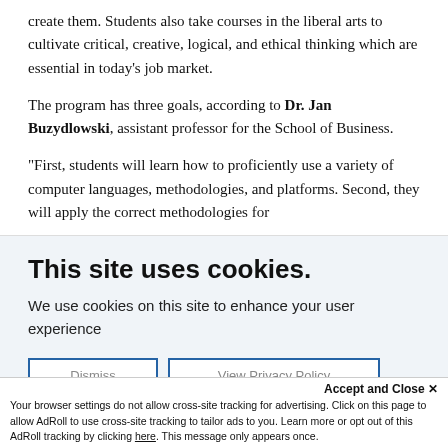create them. Students also take courses in the liberal arts to cultivate critical, creative, logical, and ethical thinking which are essential in today's job market.
The program has three goals, according to Dr. Jan Buzydlowski, assistant professor for the School of Business.
“First, students will learn how to proficiently use a variety of computer languages, methodologies, and platforms. Second, they will apply the correct methodologies for
This site uses cookies.
We use cookies on this site to enhance your user experience
Accept and Close ×
Your browser settings do not allow cross-site tracking for advertising. Click on this page to allow AdRoll to use cross-site tracking to tailor ads to you. Learn more or opt out of this AdRoll tracking by clicking here. This message only appears once.